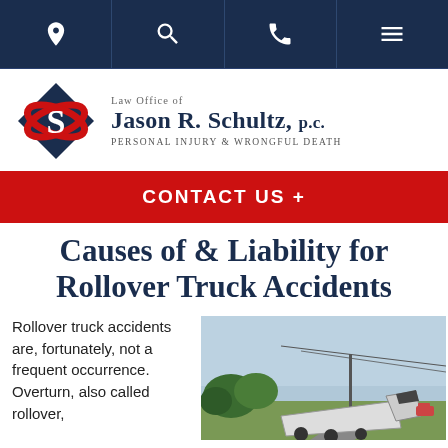Navigation bar with location, search, phone, and menu icons
[Figure (logo): Law Office of Jason R. Schultz, P.C. logo — diamond shape with S, Personal Injury & Wrongful Death]
CONTACT US +
Causes of & Liability for Rollover Truck Accidents
Rollover truck accidents are, fortunately, not a frequent occurrence. Overturn, also called rollover,
[Figure (photo): Photo of an overturned semi-truck on the side of a road with power lines and open sky in background]